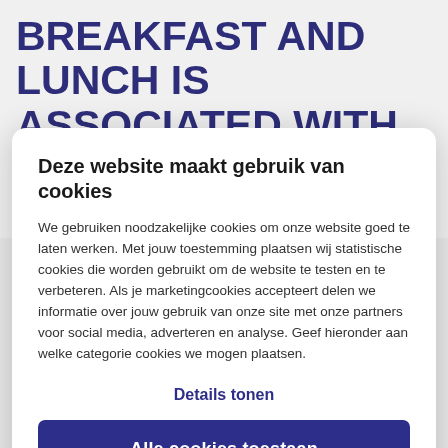BREAKFAST AND LUNCH IS ASSOCIATED WITH A HIGHER
[Figure (screenshot): Cookie consent modal dialog box with heading 'Deze website maakt gebruik van cookies', explanatory text in Dutch about cookies, a 'Details tonen' link, and an 'Alle cookies toestaan' button.]
sarcopenia. Protein intake at breakfast and lunch is often low and offers a great opportunity to improve daily protein intake. Protein, however, is